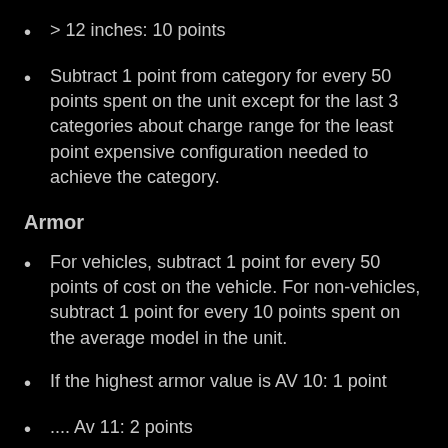> 12 inches: 10 points
Subtract 1 point from category for every 50 points spent on the unit except for the last 3 categories about charge range for the least point expensive configuration needed to achieve the category.
Armor
For vehicles, subtract 1 point for every 50 points of cost on the vehicle. For non-vehicles, subtract 1 point for every 10 points spent on the average model in the unit.
If the highest armor value is AV 10: 1 point
.... Av 11: 2 points